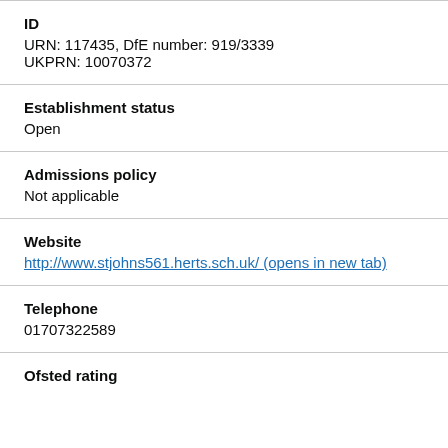ID
URN: 117435, DfE number: 919/3339
UKPRN: 10070372
Establishment status
Open
Admissions policy
Not applicable
Website
http://www.stjohns561.herts.sch.uk/ (opens in new tab)
Telephone
01707322589
Ofsted rating